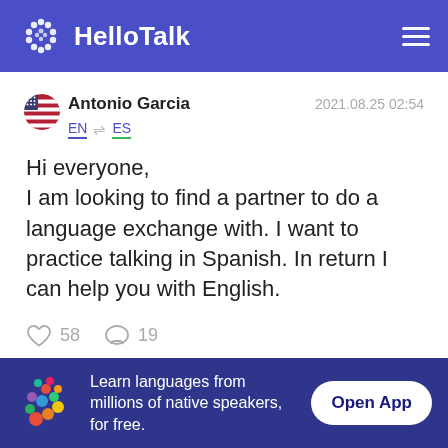HelloTalk
Antonio Garcia  2021.08.25 02:54
EN → ES
Hi everyone,
I am looking to find a partner to do a language exchange with. I want to practice talking in Spanish. In return I can help you with English.
58  19
Learn languages from millions of native speakers, for free.  Open App